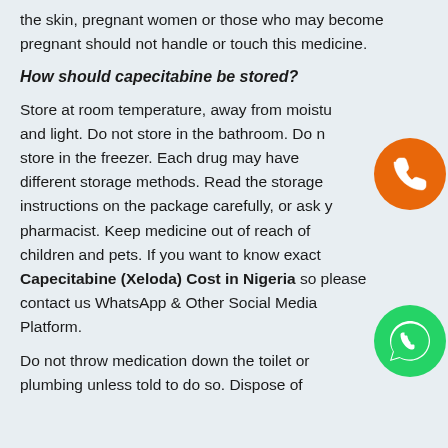the skin, pregnant women or those who may become pregnant should not handle or touch this medicine.
How should capecitabine be stored?
Store at room temperature, away from moisture and light. Do not store in the bathroom. Do not store in the freezer. Each drug may have different storage methods. Read the storage instructions on the package carefully, or ask your pharmacist. Keep medicine out of reach of children and pets. If you want to know exact Capecitabine (Xeloda) Cost in Nigeria so please contact us WhatsApp & Other Social Media Platform.
[Figure (illustration): Orange circle with white phone handset icon (call button)]
[Figure (illustration): Green circle with white WhatsApp logo icon]
Do not throw medication down the toilet or plumbing unless told to do so. Dispose of